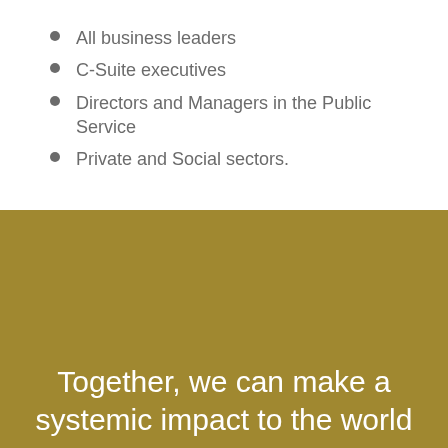All business leaders
C-Suite executives
Directors and Managers in the Public Service
Private and Social sectors.
Together, we can make a systemic impact to the world